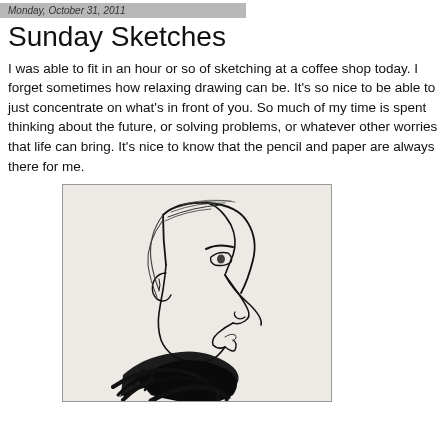Monday, October 31, 2011
Sunday Sketches
I was able to fit in an hour or so of sketching at a coffee shop today. I forget sometimes how relaxing drawing can be. It's so nice to be able to just concentrate on what's in front of you. So much of my time is spent thinking about the future, or solving problems, or whatever other worries that life can bring. It's nice to know that the pencil and paper are always there for me.
[Figure (illustration): A pen-and-ink caricature sketch of a man's profile (side view facing right), with exaggerated angular facial features, swept-back hair, and a dark scarf or collar rendered in bold black brushstrokes at the bottom.]